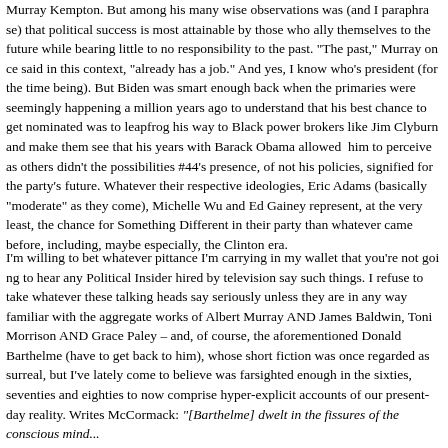Murray Kempton. But among his many wise observations was (and I paraphrase) that political success is most attainable by those who ally themselves to the future while bearing little to no responsibility to the past. "The past," Murray once said in this context, "already has a job." And yes, I know who's president (for the time being). But Biden was smart enough back when the primaries were seemingly happening a million years ago to understand that his best chance to get nominated was to leapfrog his way to Black power brokers like Jim Clyburn and make them see that his years with Barack Obama allowed him to perceive as others didn't the possibilities #44's presence, of not his policies, signified for the party's future. Whatever their respective ideologies, Eric Adams (basically "moderate" as they come), Michelle Wu and Ed Gainey represent, at the very least, the chance for Something Different in their party than whatever came before, including, maybe especially, the Clinton era.
I'm willing to bet whatever pittance I'm carrying in my wallet that you're not going to hear any Political Insider hired by television say such things. I refuse to take whatever these talking heads say seriously unless they are in any way familiar with the aggregate works of Albert Murray AND James Baldwin, Toni Morrison AND Grace Paley – and, of course, the aforementioned Donald Barthelme (have to get back to him), whose short fiction was once regarded as surreal, but I've lately come to believe was farsighted enough in the sixties, seventies and eighties to now comprise hyper-explicit accounts of our present-day reality. Writes McCormack: "[Barthelme] dwelt in the fissures of the conscious mind...